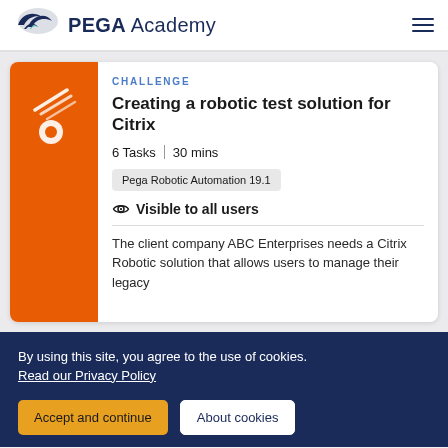PEGA Academy
CHALLENGE
Creating a robotic test solution for Citrix
6 Tasks | 30 mins
Pega Robotic Automation 19.1
Visible to all users
The client company ABC Enterprises needs a Citrix Robotic solution that allows users to manage their legacy
By using this site, you agree to the use of cookies. Read our Privacy Policy
Accept and continue
About cookies